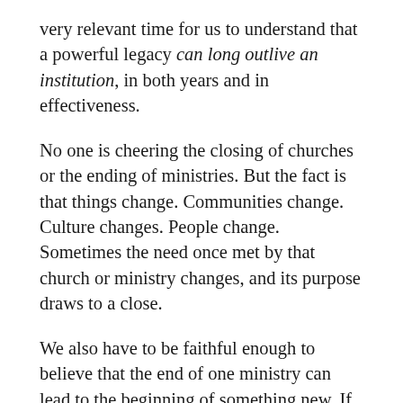very relevant time for us to understand that a powerful legacy can long outlive an institution, in both years and in effectiveness.
No one is cheering the closing of churches or the ending of ministries. But the fact is that things change. Communities change. Culture changes. People change. Sometimes the need once met by that church or ministry changes, and its purpose draws to a close.
We also have to be faithful enough to believe that the end of one ministry can lead to the beginning of something new. If ministries understand the vitality of legacy, then there will be workers prepared to pour themselves into something else that is equally vital.